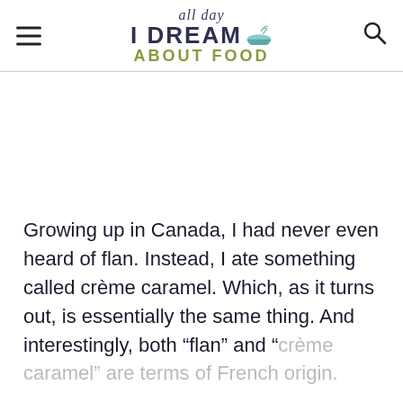all day I DREAM ABOUT FOOD
Growing up in Canada, I had never even heard of flan. Instead, I ate something called crème caramel. Which, as it turns out, is essentially the same thing. And interestingly, both “flan” and “crème caramel” are terms of French origin.